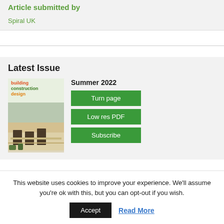Article submitted by
Spiral UK
Latest Issue
Summer 2022
Turn page
Low res PDF
Subscribe
[Figure (photo): Magazine cover of Building Construction Design, Summer 2022 issue, showing an office interior with wooden floors and plants]
This website uses cookies to improve your experience. We'll assume you're ok with this, but you can opt-out if you wish.
Accept
Read More